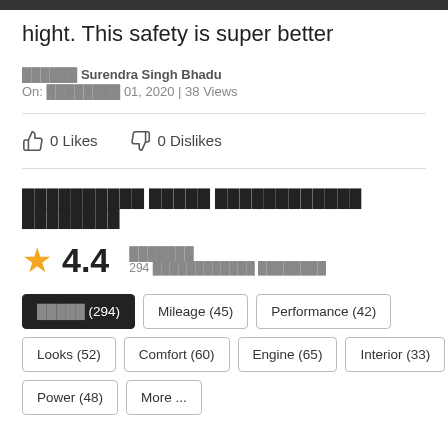hight. This safety is super better
███████ Surendra Singh Bhadu
On: ████████ 01, 2020 | 38 Views
0 Likes   0 Dislikes
██████████ █████ ████████████ ████████
4.4  ███████  294 ████████████ ████████
█████ (294)  Mileage (45)  Performance (42)  Looks (52)  Comfort (60)  Engine (65)  Interior (33)  Power (48)  More ...